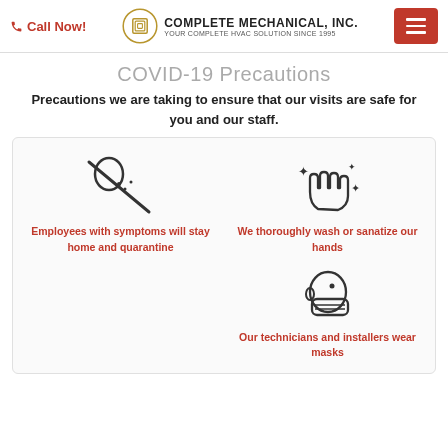Call Now! | COMPLETE MECHANICAL, INC. YOUR COMPLETE HVAC SOLUTION SINCE 1995
COVID-19 Precautions
Precautions we are taking to ensure that our visits are safe for you and our staff.
[Figure (infographic): Icon of person sneezing with a cross/slash through it (no sneezing icon)]
Employees with symptoms will stay home and quarantine
[Figure (infographic): Icon of a hand with sparkles indicating cleanliness/sanitizing]
We thoroughly wash or sanatize our hands
[Figure (infographic): Icon of a person's head wearing a face mask]
Our technicians and installers wear masks